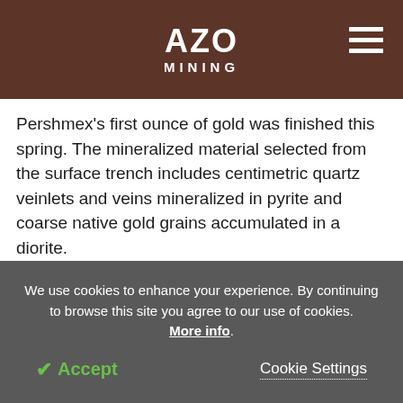AZO MINING
Pershmex's first ounce of gold was finished this spring. The mineralized material selected from the surface trench includes centimetric quartz veinlets and veins mineralized in pyrite and coarse native gold grains accumulated in a diorite.
The 1000 kg material was crushed and coarsely grounded to <1000 μm. Thus, the material released was full of spiral and Wilfley's table. Rough grinding
We use cookies to enhance your experience. By continuing to browse this site you agree to our use of cookies. More info.
✓ Accept   Cookie Settings